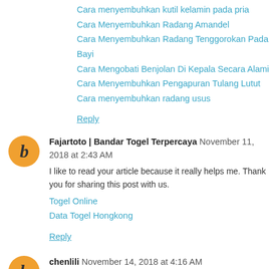Cara menyembuhkan kutil kelamin pada pria
Cara Menyembuhkan Radang Amandel
Cara Menyembuhkan Radang Tenggorokan Pada Bayi
Cara Mengobati Benjolan Di Kepala Secara Alami
Cara Menyembuhkan Pengapuran Tulang Lutut
Cara menyembuhkan radang usus
Reply
Fajartoto | Bandar Togel Terpercaya November 11, 2018 at 2:43 AM
I like to read your article because it really helps me. Thank you for sharing this post with us.
Togel Online
Data Togel Hongkong
Reply
chenlili November 14, 2018 at 4:16 AM
chenqiuying20181114